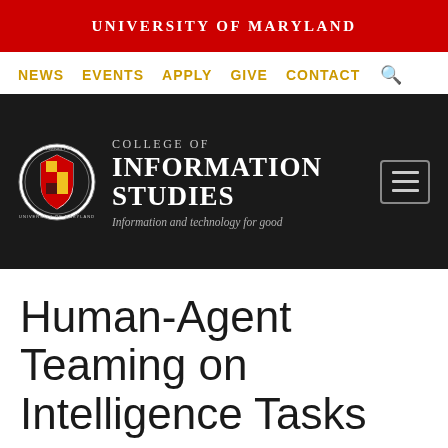UNIVERSITY OF MARYLAND
NEWS   EVENTS   APPLY   GIVE   CONTACT
[Figure (logo): University of Maryland College of Information Studies logo with circular seal and text 'COLLEGE OF INFORMATION STUDIES — Information and technology for good']
Human-Agent Teaming on Intelligence Tasks
HOME / RESEARCH / RESEARCH PROJECTS